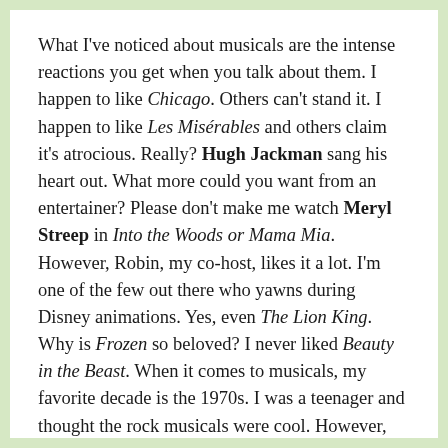What I've noticed about musicals are the intense reactions you get when you talk about them. I happen to like Chicago. Others can't stand it. I happen to like Les Misérables and others claim it's atrocious. Really? Hugh Jackman sang his heart out. What more could you want from an entertainer? Please don't make me watch Meryl Streep in Into the Woods or Mama Mia. However, Robin, my co-host, likes it a lot. I'm one of the few out there who yawns during Disney animations. Yes, even The Lion King. Why is Frozen so beloved? I never liked Beauty in the Beast. When it comes to musicals, my favorite decade is the 1970s. I was a teenager and thought the rock musicals were cool. However, my favorite musicals come from the 1960s: West Side Story, Cabaret (1968/72),